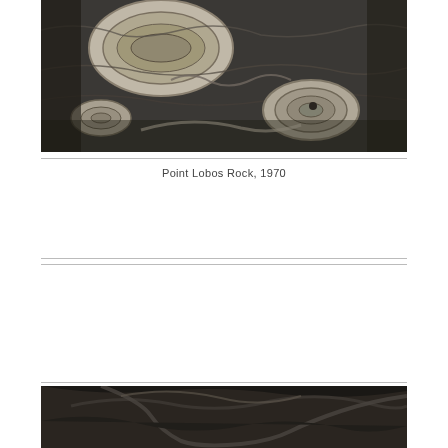[Figure (photo): Black and white aerial or close-up photograph of rocky terrain at Point Lobos, showing layered, weathered rock formations with swirling oval and circular patterns.]
Point Lobos Rock, 1970
[Figure (photo): Black and white photograph showing a partial view of a dark, curved rocky or animal form, partially cropped at the bottom of the page.]